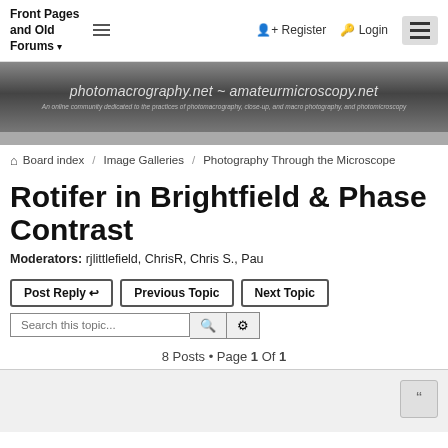Front Pages and Old Forums
[Figure (screenshot): Website banner for photomacrography.net ~ amateurmicroscopy.net with dark gradient background and italic text subtitle]
Board index / Image Galleries / Photography Through the Microscope
Rotifer in Brightfield & Phase Contrast
Moderators: rjlittlefield, ChrisR, Chris S., Pau
Post Reply  Previous Topic  Next Topic
Search this topic...
8 Posts • Page 1 Of 1